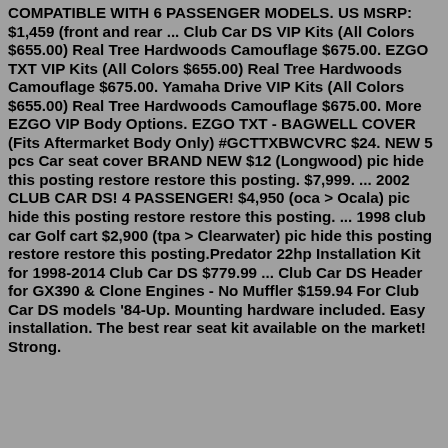COMPATIBLE WITH 6 PASSENGER MODELS. US MSRP: $1,459 (front and rear ... Club Car DS VIP Kits (All Colors $655.00) Real Tree Hardwoods Camouflage $675.00. EZGO TXT VIP Kits (All Colors $655.00) Real Tree Hardwoods Camouflage $675.00. Yamaha Drive VIP Kits (All Colors $655.00) Real Tree Hardwoods Camouflage $675.00. More EZGO VIP Body Options. EZGO TXT - BAGWELL COVER (Fits Aftermarket Body Only) #GCTTXBWCVRC $24. NEW 5 pcs Car seat cover BRAND NEW $12 (Longwood) pic hide this posting restore restore this posting. $7,999. ... 2002 CLUB CAR DS! 4 PASSENGER! $4,950 (oca > Ocala) pic hide this posting restore restore this posting. ... 1998 club car Golf cart $2,900 (tpa > Clearwater) pic hide this posting restore restore this posting.Predator 22hp Installation Kit for 1998-2014 Club Car DS $779.99 ... Club Car DS Header for GX390 & Clone Engines - No Muffler $159.94 For Club Car DS models '84-Up. Mounting hardware included. Easy installation. The best rear seat kit available on the market! Strong.